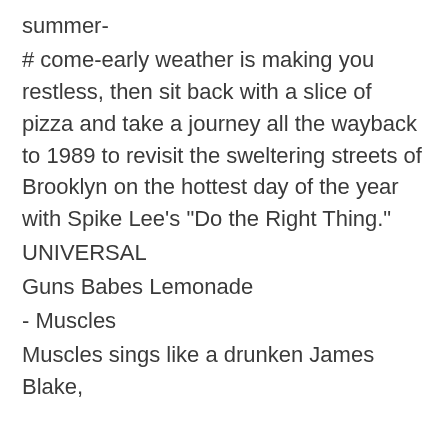summer-
# come-early weather is making you restless, then sit back with a slice of pizza and take a journey all the wayback to 1989 to revisit the sweltering streets of Brooklyn on the hottest day of the year with Spike Lee's "Do the Right Thing."
UNIVERSAL
Guns Babes Lemonade
- Muscles
Muscles sings like a drunken James Blake,